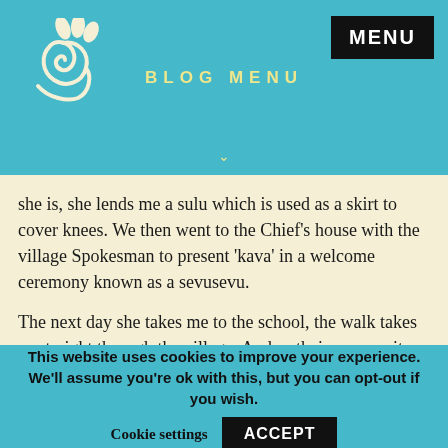BLOG MENU
she is, she lends me a sulu which is used as a skirt to cover knees. We then went to the Chief's house with the village Spokesman to present 'kava' in a welcome ceremony known as a sevusevu.
The next day she takes me to the school, the walk takes us straight through the village. And as their seem quite western on the outside there's almost nothing on the inside. Fijians don't care about possessions. Their focus lies on family and fun. When you arrive here you will feel and see their constant smiles. This village is small
This website uses cookies to improve your experience. We'll assume you're ok with this, but you can opt-out if you wish.
Cookie settings   ACCEPT